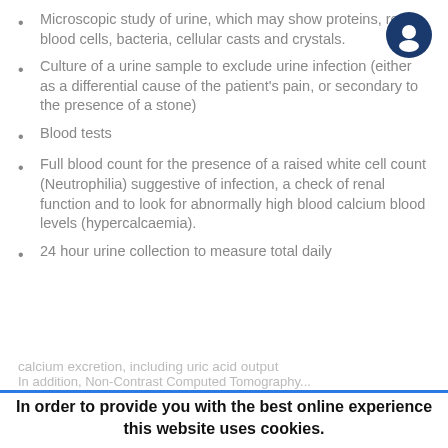Microscopic study of urine, which may show proteins, red blood cells, bacteria, cellular casts and crystals.
Culture of a urine sample to exclude urine infection (either as a differential cause of the patient's pain, or secondary to the presence of a stone)
Blood tests
Full blood count for the presence of a raised white cell count (Neutrophilia) suggestive of infection, a check of renal function and to look for abnormally high blood calcium blood levels (hypercalcaemia).
24 hour urine collection to measure total daily urinary calcium excretion, including uric acid
In order to provide you with the best online experience this website uses cookies.
By using our website, you agree to our use of cookies.
I agree
Natural Medicine for Kidney Stones